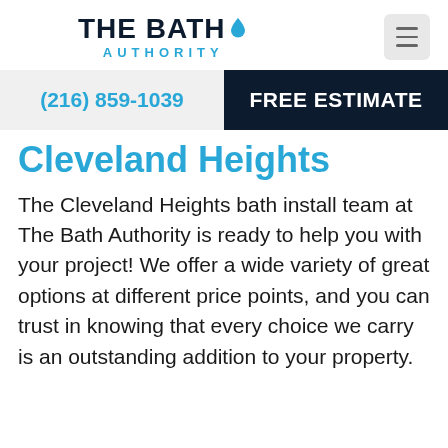THE BATH AUTHORITY
[Figure (logo): The Bath Authority logo with blue water drop icon and 'THE BATH' in dark navy bold text and 'AUTHORITY' in cyan spaced letters below]
(216) 859-1039
FREE ESTIMATE
Cleveland Heights
The Cleveland Heights bath install team at The Bath Authority is ready to help you with your project! We offer a wide variety of great options at different price points, and you can trust in knowing that every choice we carry is an outstanding addition to your property.